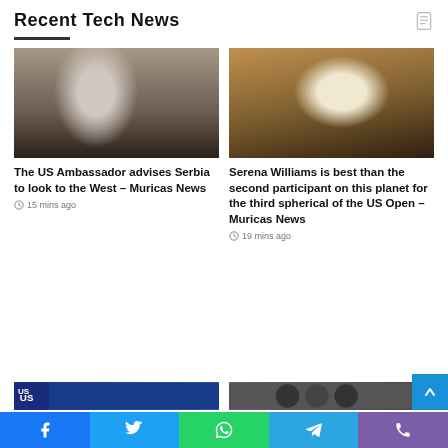Recent Tech News
[Figure (photo): Older man in suit talking on phone]
The US Ambassador advises Serbia to look to the West – Muricas News
15 mins ago
[Figure (photo): Hand holding a sign reading 'you changed the game']
Serena Williams is best than the second participant on this planet for the third spherical of the US Open – Muricas News
19 mins ago
[Figure (photo): Bottom left thumbnail with US label]
[Figure (photo): Bottom right thumbnail black and white]
Facebook Twitter WhatsApp Telegram Phone social share bar